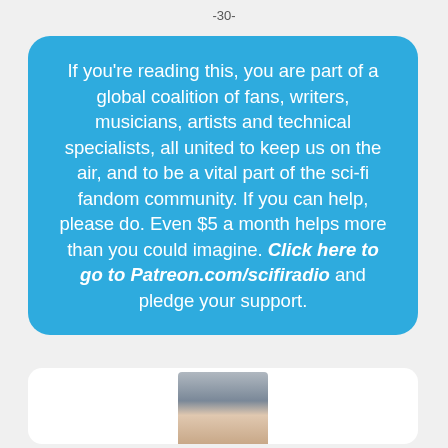-30-
If you’re reading this, you are part of a global coalition of fans, writers, musicians, artists and technical specialists, all united to keep us on the air, and to be a vital part of the sci-fi fandom community. If you can help, please do. Even $5 a month helps more than you could imagine. Click here to go to Patreon.com/scifiradio and pledge your support.
[Figure (photo): Partial photo of a person, visible from shoulders up, appearing at the bottom of the page inside a white rounded box.]